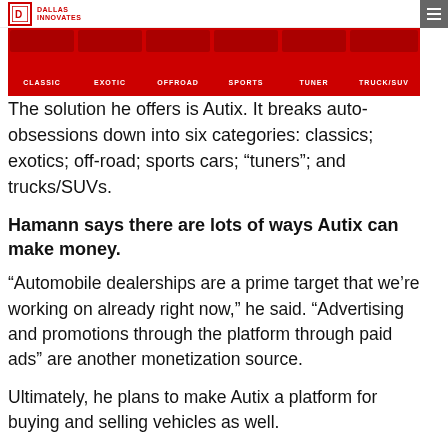DALLAS INNOVATES
[Figure (screenshot): Red navigation bar for Autix app showing category tabs: CLASSIC, EXOTIC, OFFROAD, SPORTS, TUNER, TRUCK/SUV]
The solution he offers is Autix. It breaks auto-obsessions down into six categories: classics; exotics; off-road; sports cars; “tuners”; and trucks/SUVs.
Hamann says there are lots of ways Autix can make money.
“Automobile dealerships are a prime target that we’re working on already right now,” he said. “Advertising and promotions through the platform through paid ads” are another monetization source.
Ultimately, he plans to make Autix a platform for buying and selling vehicles as well.
He says...